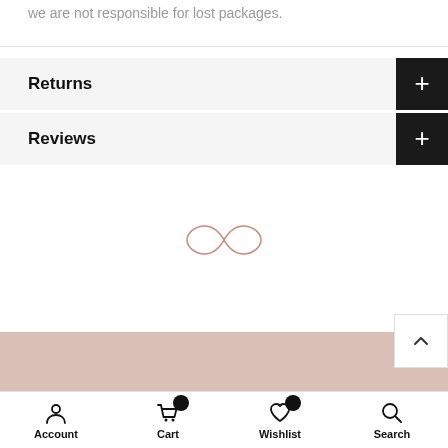we are not responsible for lost packages.
Returns
Reviews
[Figure (logo): Infinity symbol logo in rose/salmon color outline]
Account | Cart 0 | Wishlist 0 | Search